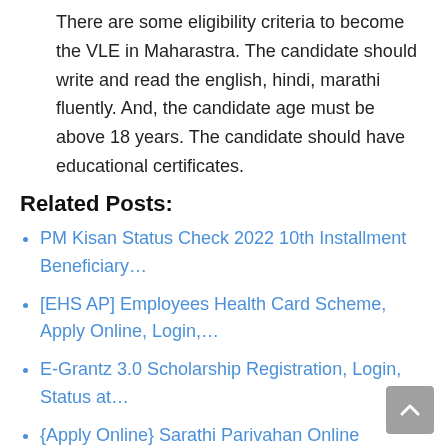There are some eligibility criteria to become the VLE in Maharastra. The candidate should write and read the english, hindi, marathi fluently. And, the candidate age must be above 18 years. The candidate should have educational certificates.
Related Posts:
PM Kisan Status Check 2022 10th Installment Beneficiary…
[EHS AP] Employees Health Card Scheme, Apply Online, Login,…
E-Grantz 3.0 Scholarship Registration, Login, Status at…
{Apply Online} Sarathi Parivahan Online